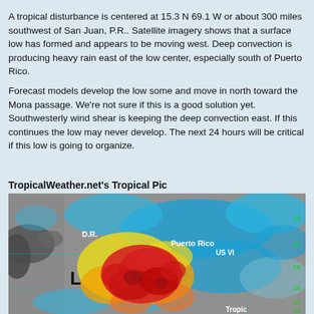A tropical disturbance is centered at 15.3 N 69.1 W or about 300 miles southwest of San Juan, P.R.. Satellite imagery shows that a surface low has formed and appears to be moving west. Deep convection is producing heavy rain east of the low center, especially south of Puerto Rico.
Forecast models develop the low some and move in north toward the Mona passage. We're not sure if this is a good solution yet. Southwesterly wind shear is keeping the deep convection east. If this continues the low may never develop. The next 24 hours will be critical if this low is going to organize.
TropicalWeather.net's Tropical Pic
[Figure (photo): Satellite imagery showing a tropical disturbance near Puerto Rico and the US Virgin Islands. The image shows a color-enhanced radar/satellite composite with blue indicating cloud cover, yellow and orange indicating moderate convection, and red indicating intense deep convection. Labels show D.R., Puerto Rico, and US VI. A large 'L' marks the low pressure center to the southwest of Puerto Rico.]